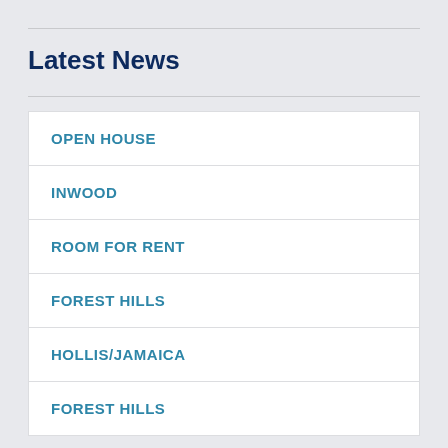Latest News
OPEN HOUSE
INWOOD
ROOM FOR RENT
FOREST HILLS
HOLLIS/JAMAICA
FOREST HILLS